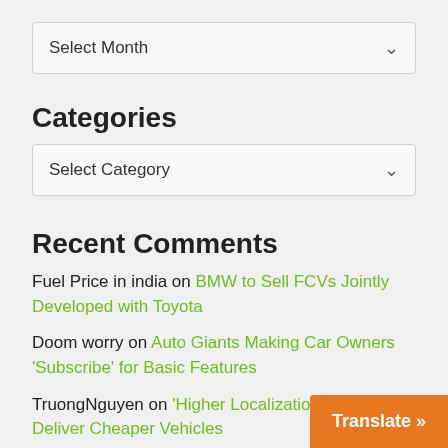Select Month
Categories
Select Category
Recent Comments
Fuel Price in india on BMW to Sell FCVs Jointly Developed with Toyota
Doom worry on Auto Giants Making Car Owners 'Subscribe' for Basic Features
TruongNguyen on 'Higher Localization' Fails to Deliver Cheaper Vehicles
Yes a Robot!!!!!!!!! on Xiaomi Beat Te…
Translate »